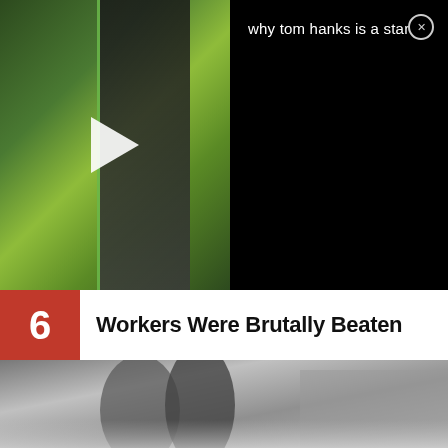[Figure (screenshot): Video thumbnail showing a person against a green background with a play button overlay, beside a black panel with the text 'why tom hanks is a star' and a close button]
6 Workers Were Brutally Beaten
[Figure (photo): Black and white historical photograph showing workers in an outdoor setting with vegetation in the background]